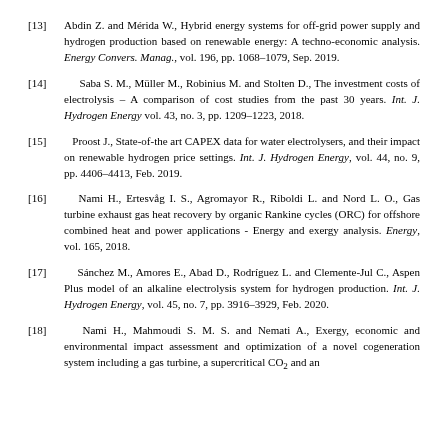[13] Abdin Z. and Mérida W., Hybrid energy systems for off-grid power supply and hydrogen production based on renewable energy: A techno-economic analysis. Energy Convers. Manag., vol. 196, pp. 1068–1079, Sep. 2019.
[14] Saba S. M., Müller M., Robinius M. and Stolten D., The investment costs of electrolysis – A comparison of cost studies from the past 30 years. Int. J. Hydrogen Energy vol. 43, no. 3, pp. 1209–1223, 2018.
[15] Proost J., State-of-the art CAPEX data for water electrolysers, and their impact on renewable hydrogen price settings. Int. J. Hydrogen Energy, vol. 44, no. 9, pp. 4406–4413, Feb. 2019.
[16] Nami H., Ertesvåg I. S., Agromayor R., Riboldi L. and Nord L. O., Gas turbine exhaust gas heat recovery by organic Rankine cycles (ORC) for offshore combined heat and power applications - Energy and exergy analysis. Energy, vol. 165, 2018.
[17] Sánchez M., Amores E., Abad D., Rodríguez L. and Clemente-Jul C., Aspen Plus model of an alkaline electrolysis system for hydrogen production. Int. J. Hydrogen Energy, vol. 45, no. 7, pp. 3916–3929, Feb. 2020.
[18] Nami H., Mahmoudi S. M. S. and Nemati A., Exergy, economic and environmental impact assessment and optimization of a novel cogeneration system including a gas turbine, a supercritical CO2 and an